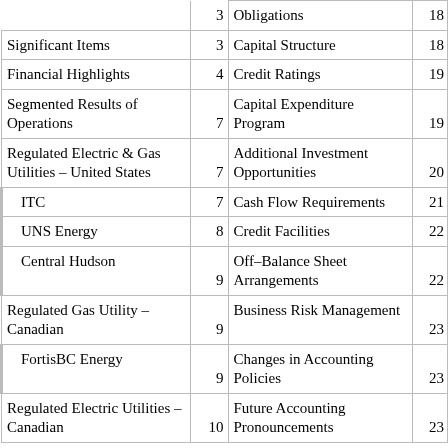| Topic | Page | Topic | Page |
| --- | --- | --- | --- |
| Obligations | 18 |  |  |
| Significant Items | 3 | Capital Structure | 18 |
| Financial Highlights | 4 | Credit Ratings | 19 |
| Segmented Results of Operations | 7 | Capital Expenditure Program | 19 |
| Regulated Electric & Gas Utilities – United States | 7 | Additional Investment Opportunities | 20 |
| ITC | 7 | Cash Flow Requirements | 21 |
| UNS Energy | 8 | Credit Facilities | 22 |
| Central Hudson | 9 | Off–Balance Sheet Arrangements | 22 |
| Regulated Gas Utility – Canadian | 9 | Business Risk Management | 23 |
| FortisBC Energy | 9 | Changes in Accounting Policies | 23 |
| Regulated Electric Utilities – Canadian | 10 | Future Accounting Pronouncements | 23 |